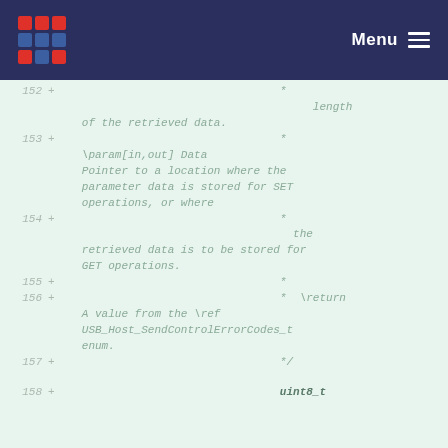Menu
Code diff view showing lines 152-158 of source code with comments about length of retrieved data, param[in,out] Data Pointer, SET operations, GET operations, return value from USB_Host_SendControlErrorCodes_t enum, and uint8_t type.